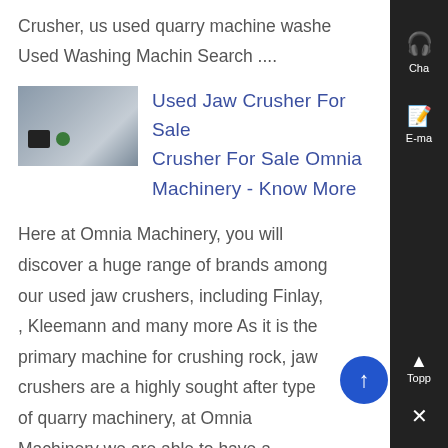Crusher, us used quarry machine washe Used Washing Machin Search ....
[Figure (photo): Thumbnail image of a jaw crusher machine]
Used Jaw Crusher For Sale Crusher For Sale Omnia Machinery - Know More
Here at Omnia Machinery, you will discover a huge range of brands among our used jaw crushers, including Finlay, , Kleemann and many more As it is the primary machine for crushing rock, jaw crushers are a highly sought after type of quarry machinery, at Omnia Machinery we are able to have a machine fully checked and delivered to you safely and securely to coincide with